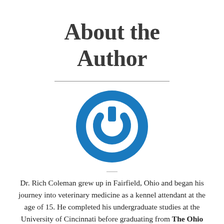About the Author
[Figure (logo): Blue circular power button icon with white power symbol]
Dr. Rich Coleman grew up in Fairfield, Ohio and began his journey into veterinary medicine as a kennel attendant at the age of 15. He completed his undergraduate studies at the University of Cincinnati before graduating from The Ohio State University College of Veterinary Medicine in 2002.